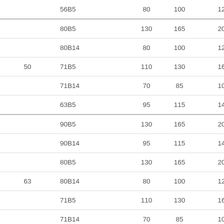|  | Code | Col1 | Col2 | Col3 |
| --- | --- | --- | --- | --- |
|  | 56B5 | 80 | 100 | 120 |
|  | 80B5 | 130 | 165 | 200 |
|  | 80B14 | 80 | 100 | 120 |
| 50 | 71B5 | 110 | 130 | 160 |
|  | 71B14 | 70 | 85 | 105 |
|  | 63B5 | 95 | 115 | 140 |
|  | 90B5 | 130 | 165 | 200 |
|  | 90B14 | 95 | 115 | 140 |
|  | 80B5 | 130 | 165 | 200 |
| 63 | 80B14 | 80 | 100 | 120 |
|  | 71B5 | 110 | 130 | 160 |
|  | 71B14 | 70 | 85 | 105 |
|  | 100/112B5 | 130 | 215 | 250 |